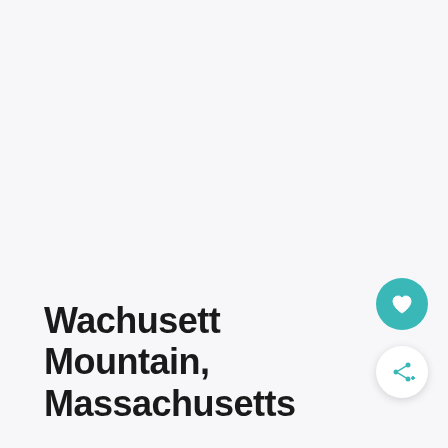Wachusett Mountain, Massachusetts
[Figure (other): Teal/turquoise circular heart/favorite button icon on the right side]
[Figure (other): White circular share button icon with share symbol and plus sign on the right side]